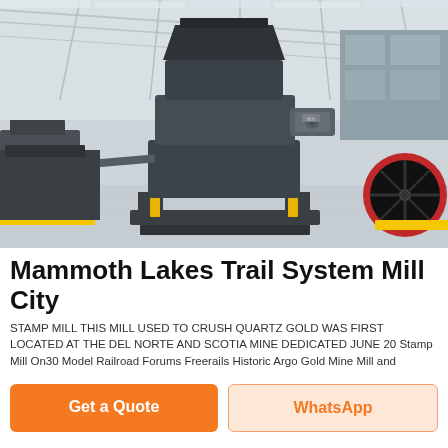[Figure (photo): Industrial mining/crushing machine (stamp mill / jaw crusher) in a large factory warehouse with steel roof trusses, concrete floor, and other equipment visible in the background.]
Mammoth Lakes Trail System Mill City
STAMP MILL THIS MILL USED TO CRUSH QUARTZ GOLD WAS FIRST LOCATED AT THE DEL NORTE AND SCOTIA MINE DEDICATED JUNE 20 Stamp Mill On30 Model Railroad Forums Freerails Historic Argo Gold Mine Mill and